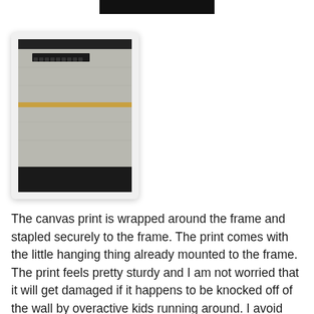[Figure (photo): Top portion of a black image strip at the top center of the page]
[Figure (photo): A photograph showing the back of a canvas print mounted on a frame, with staples visible at the top, a golden/tan horizontal line across the middle, set against a dark background. The photo is displayed in a white card with rounded corners and a shadow.]
The canvas print is wrapped around the frame and stapled securely to the frame. The print comes with the little hanging thing already mounted to the frame. The print feels pretty sturdy and I am not worried that it will get damaged if it happens to be knocked off of the wall by overactive kids running around. I avoid hanging pictures usually because they fall and the glass shatters everywhere, so this is a great alternative for me. Plus it just looks wonderful. I have my mind made up to get some more pictures made into canvas